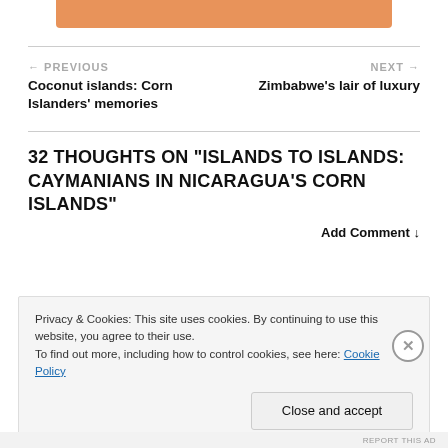[Figure (other): Orange decorative bar at top of page]
← PREVIOUS
Coconut islands: Corn Islanders' memories
NEXT →
Zimbabwe's lair of luxury
32 THOUGHTS ON "ISLANDS TO ISLANDS: CAYMANIANS IN NICARAGUA'S CORN ISLANDS"
Add Comment ↓
Privacy & Cookies: This site uses cookies. By continuing to use this website, you agree to their use.
To find out more, including how to control cookies, see here: Cookie Policy
Close and accept